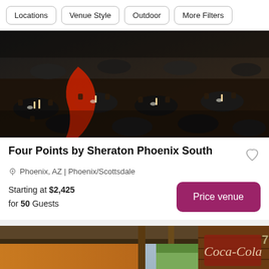Locations
Venue Style
Outdoor
More Filters
[Figure (photo): Banquet hall interior with many round tables set with black tablecloths, chairs, and centerpieces; a red drape is visible in the background]
Four Points by Sheraton Phoenix South
Phoenix, AZ | Phoenix/Scottsdale
Starting at $2,425 for 50 Guests
Price venue
[Figure (photo): Outdoor patio venue with wooden bar tables and chairs, orange wall, rustic wooden wall with vintage Coca-Cola sign, and decorative barrels]